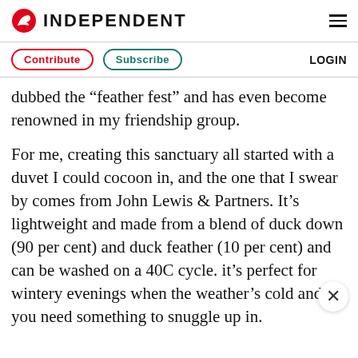INDEPENDENT
Contribute  Subscribe  LOGIN
dubbed the “feather fest” and has even become renowned in my friendship group.
For me, creating this sanctuary all started with a duvet I could cocoon in, and the one that I swear by comes from John Lewis & Partners. It’s lightweight and made from a blend of duck down (90 per cent) and duck feather (10 per cent) and can be washed on a 40C cycle. it’s perfect for wintery evenings when the weather’s cold and you need something to snuggle up in.